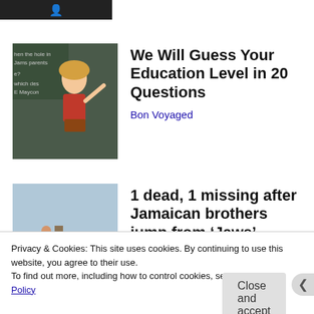[Figure (photo): Small dark thumbnail image at top left corner]
[Figure (photo): Photo of a blonde woman in a red top standing at a chalkboard in a classroom]
We Will Guess Your Education Level in 20 Questions
Bon Voyaged
[Figure (photo): Photo of a person jumping off a bridge into water]
1 dead, 1 missing after Jamaican brothers jump from ‘Jaws’ bridge in Martha’s...
The Grio
Privacy & Cookies: This site uses cookies. By continuing to use this website, you agree to their use.
To find out more, including how to control cookies, see here: Cookie Policy
Close and accept